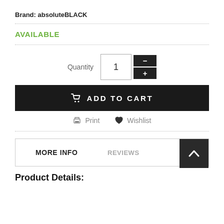Brand: absoluteBLACK
AVAILABLE
[Figure (screenshot): Quantity selector with input box showing '1' and two buttons: minus (-) and plus (+)]
ADD TO CART
Print   Wishlist
MORE INFO   REVIEWS
Product Details: